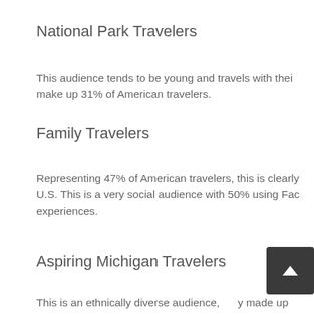National Park Travelers
This audience tends to be young and travels with their make up 31% of American travelers.
Family Travelers
Representing 47% of American travelers, this is clearly U.S. This is a very social audience with 50% using Fac experiences.
Aspiring Michigan Travelers
This is an ethnically diverse audience, largely made up media and tourism bureaus. Online video is important